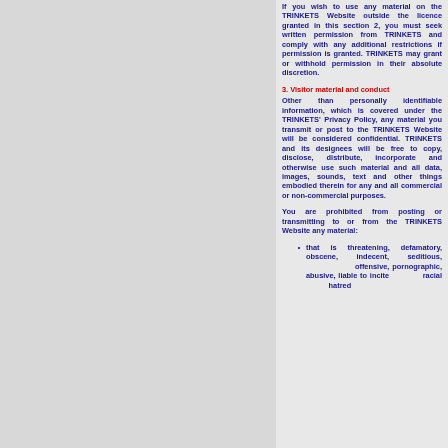If you wish to use any material on the TRINKETS Website outside the licence granted in this section 2, you must seek written permission from TRINKETS and comply with any additional restrictions if permission is granted. TRINKETS may grant or withhold permission in their absolute discretion.
3. Visitor material and conduct
Other than personally identifiable information, which is covered under the TRINKETS' Privacy Policy, any material you transmit or post to the TRINKETS Website will be considered confidential. TRINKETS and its designees will be free to copy, disclose, distribute, incorporate and otherwise use such material and all data, images, sounds, text and other things embodied therein for any and all commercial or non-commercial purposes.
You are prohibited from posting or transmitting to or from the TRINKETS Website any material:
that is threatening, defamatory, obscene, indecent, seditious, offensive, pornographic, abusive, liable to incite racial hatred